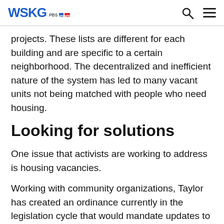WSKG PBS NPR
projects. These lists are different for each building and are specific to a certain neighborhood. The decentralized and inefficient nature of the system has led to many vacant units not being matched with people who need housing.
Looking for solutions
One issue that activists are working to address is housing vacancies.
Working with community organizations, Taylor has created an ordinance currently in the legislation cycle that would mandate updates to the system.